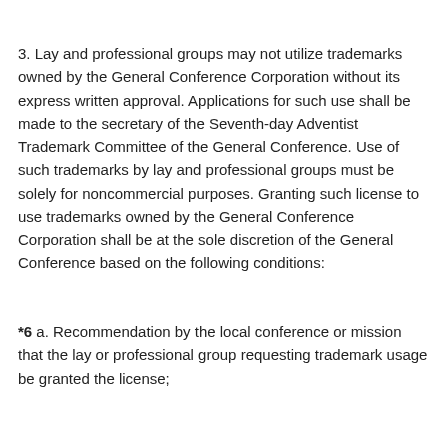3. Lay and professional groups may not utilize trademarks owned by the General Conference Corporation without its express written approval. Applications for such use shall be made to the secretary of the Seventh-day Adventist Trademark Committee of the General Conference. Use of such trademarks by lay and professional groups must be solely for noncommercial purposes. Granting such license to use trademarks owned by the General Conference Corporation shall be at the sole discretion of the General Conference based on the following conditions:
*6 a. Recommendation by the local conference or mission that the lay or professional group requesting trademark usage be granted the license;